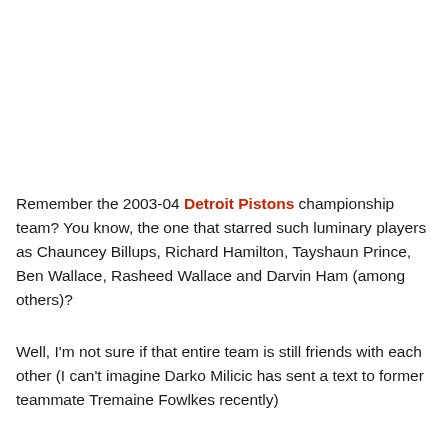Remember the 2003-04 Detroit Pistons championship team? You know, the one that starred such luminary players as Chauncey Billups, Richard Hamilton, Tayshaun Prince, Ben Wallace, Rasheed Wallace and Darvin Ham (among others)?
Well, I'm not sure if that entire team is still friends with each other (I can't imagine Darko Milicic has sent a text to former teammate Tremaine Fowlkes recently)